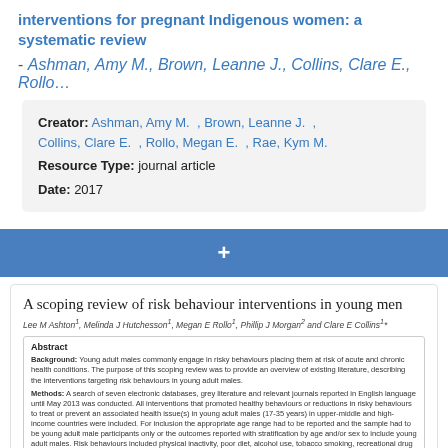interventions for pregnant Indigenous women: a systematic review
- Ashman, Amy M., Brown, Leanne J., Collins, Clare E., Rollo…
Creator: Ashman, Amy M. , Brown, Leanne J. , Collins, Clare E. , Rollo, Megan E. , Rae, Kym M.
Resource Type: journal article
Date: 2017
+
A scoping review of risk behaviour interventions in young men
Lee M Ashton¹, Melinda J Hutchesson¹, Megan E Rollo¹, Phillip J Morgan² and Clare E Collins¹*
Abstract
Background: Young adult males commonly engage in risky behaviours placing them at risk of acute and chronic health conditions. The purpose of this scoping review was to provide an overview of existing literature, describing the interventions targeting risk behaviours in young adult males.
Methods: A search of seven electronic databases, grey literature and relevant journals reported in English language until May 2013 was conducted. All interventions that promoted healthy behaviours or reductions in risky behaviours to treat or prevent an associated health issue(s) in young adult males (17-35 years) in upper-middle and high-income countries were included. For inclusion the appropriate age range had to be reported and the sample had to be young adult male participants only or the outcomes reported with stratification by age and/or sex to include young adult males. Risk behaviours included physical inactivity, poor diet, alcohol use, tobacco smoking, recreational drug use,